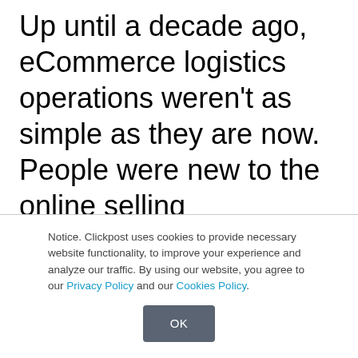Up until a decade ago, eCommerce logistics operations weren't as simple as they are now. People were new to the online selling environment, and business owners often struggled with managing websites and handling customer issues. But with the launch of dedicated eCommerce shipping apps, things simplified a bit, and eCommerce business
Notice. Clickpost uses cookies to provide necessary website functionality, to improve your experience and analyze our traffic. By using our website, you agree to our Privacy Policy and our Cookies Policy.
OK